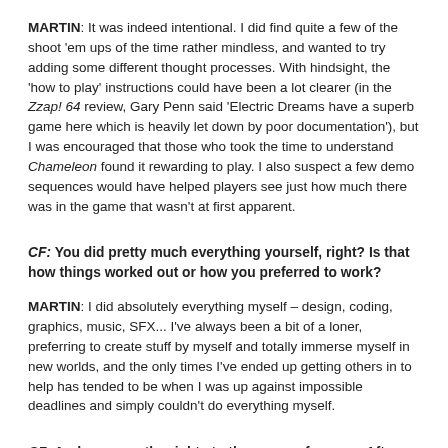MARTIN: It was indeed intentional. I did find quite a few of the shoot 'em ups of the time rather mindless, and wanted to try adding some different thought processes. With hindsight, the 'how to play' instructions could have been a lot clearer (in the Zzap! 64 review, Gary Penn said 'Electric Dreams have a superb game here which is heavily let down by poor documentation'), but I was encouraged that those who took the time to understand Chameleon found it rewarding to play. I also suspect a few demo sequences would have helped players see just how much there was in the game that wasn't at first apparent.
CF: You did pretty much everything yourself, right? Is that how things worked out or how you preferred to work?
MARTIN: I did absolutely everything myself – design, coding, graphics, music, SFX... I've always been a bit of a loner, preferring to create stuff by myself and totally immerse myself in new worlds, and the only times I've ended up getting others in to help has tended to be when I was up against impossible deadlines and simply couldn't do everything myself.
CF: And you own the rights to the game, of course. After Hunter's Moon, any thoughts on a remaster?
MARTIN: Hmm...